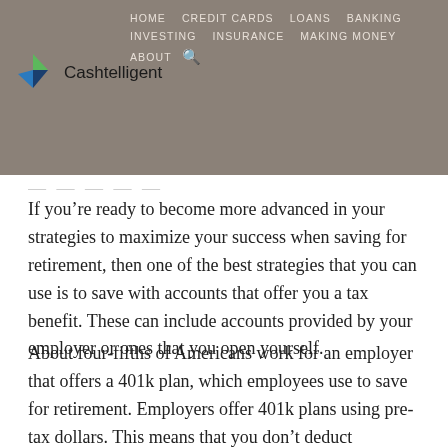HOME  CREDIT CARDS  LOANS  BANKING  INVESTING  INSURANCE  MAKING MONEY  ABOUT
If you're ready to become more advanced in your strategies to maximize your success when saving for retirement, then one of the best strategies that you can use is to save with accounts that offer you a tax benefit. These can include accounts provided by your employer or ones that you open yourself.
About four-fifths of Americans work for an employer that offers a 401k plan, which employees use to save for retirement. Employers offer 401k plans using pre-tax dollars. This means that you don't deduct contributions from your taxes. Instead, your employer